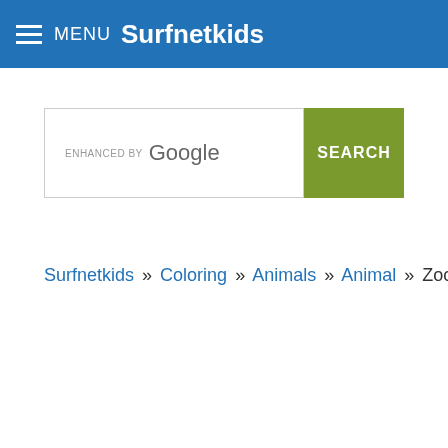MENU Surfnetkids
[Figure (screenshot): Google enhanced search bar with search button]
Surfnetkids » Coloring » Animals » Animal » Zoo Crew